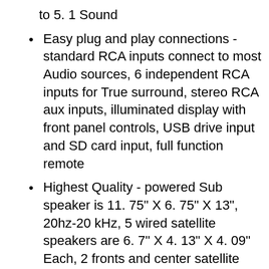to 5. 1 Sound
Easy plug and play connections - standard RCA inputs connect to most Audio sources, 6 independent RCA inputs for True surround, stereo RCA aux inputs, illuminated display with front panel controls, USB drive input and SD card input, full function remote
Highest Quality - powered Sub speaker is 11. 75" X 6. 75" X 13", 20hz-20 kHz, 5 wired satellite speakers are 6. 7" X 4. 13" X 4. 09" Each, 2 fronts and center satellite speakers have a 6 foot RCA cable, 2 rear speakers have 24 foot RCA cables, 2 RCA 25 foot Extension cables
System requirements - standard US 110V grounded wall plug, any Audio